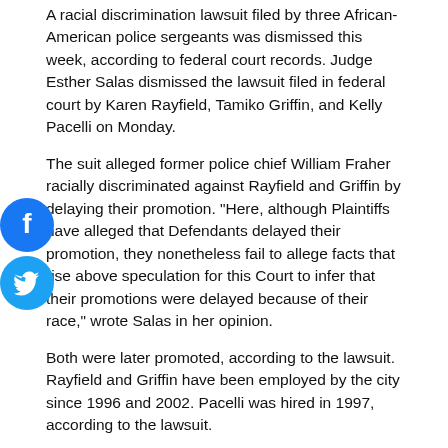A racial discrimination lawsuit filed by three African-American police sergeants was dismissed this week, according to federal court records. Judge Esther Salas dismissed the lawsuit filed in federal court by Karen Rayfield, Tamiko Griffin, and Kelly Pacelli on Monday.
The suit alleged former police chief William Fraher racially discriminated against Rayfield and Griffin by delaying their promotion. "Here, although Plaintiffs have alleged that Defendants delayed their promotion, they nonetheless fail to allege facts that rise above speculation for this Court to infer that their promotions were delayed because of their race," wrote Salas in her opinion.
Both were later promoted, according to the lawsuit. Rayfield and Griffin have been employed by the city since 1996 and 2002. Pacelli was hired in 1997, according to the lawsuit.
Rayfield claimed in an amended complaint, she faced retaliation from police for filing the lawsuit. For example, in the days after filing the lawsuit, she received her paycheck in an envelope that misspelled her name as "Ratfield." In